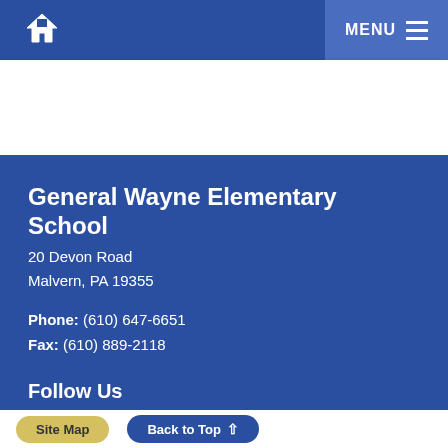General Wayne Elementary School - Navigation bar with home icon and MENU button
General Wayne Elementary School
20 Devon Road
Malvern, PA 19355
Phone: (610) 647-6651
Fax: (610) 889-2118
Follow Us
[Figure (illustration): Facebook and YouTube social media icons]
Site Map | Back to Top